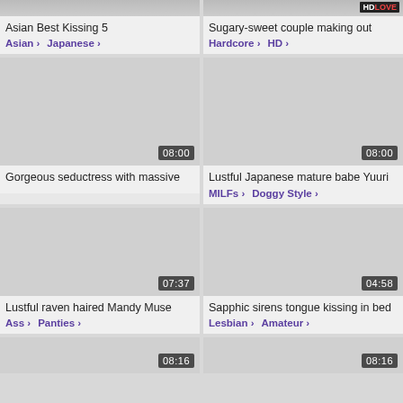[Figure (screenshot): Partial thumbnail of Asian Best Kissing 5 video, cropped at top]
Asian Best Kissing 5
Asian › Japanese ›
[Figure (screenshot): Partial thumbnail of Sugary-sweet couple making out video, cropped at top]
Sugary-sweet couple making out
Hardcore › HD ›
[Figure (screenshot): Thumbnail placeholder for Gorgeous seductress with massive, duration 08:00]
Gorgeous seductress with massive
[Figure (screenshot): Thumbnail placeholder for Lustful Japanese mature babe Yuuri, duration 08:00]
Lustful Japanese mature babe Yuuri
MILFs › Doggy Style ›
[Figure (screenshot): Thumbnail placeholder for Lustful raven haired Mandy Muse, duration 07:37]
Lustful raven haired Mandy Muse
Ass › Panties ›
[Figure (screenshot): Thumbnail placeholder for Sapphic sirens tongue kissing in bed, duration 04:58]
Sapphic sirens tongue kissing in bed
Lesbian › Amateur ›
[Figure (screenshot): Partial thumbnail at bottom left, duration 08:16]
[Figure (screenshot): Partial thumbnail at bottom right, duration 08:16]